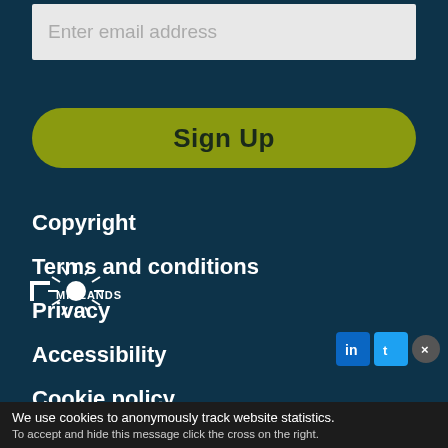Enter email address
Sign Up
Copyright
Terms and conditions
Privacy
Accessibility
Cookie policy
Website by Senior
[Figure (logo): Midlands logo with radial sun graphic]
We use cookies to anonymously track website statistics. To accept and hide this message click the cross on the right.